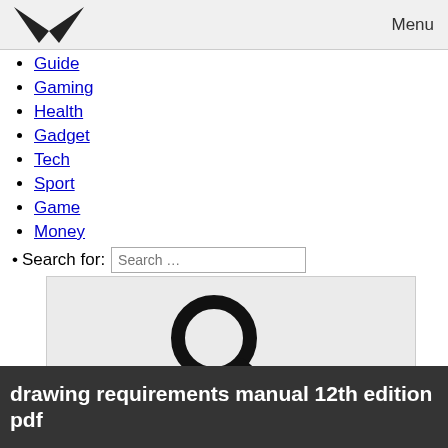[Figure (screenshot): Menu bar with chevron/hamburger icon on left and 'Menu' text on right, light gray background]
Guide
Gaming
Health
Gadget
Tech
Sport
Game
Money
Search for: [Search input field]
[Figure (illustration): Large magnifying glass / search icon on light gray background with 'Search' button text at bottom right]
drawing requirements manual 12th edition pdf